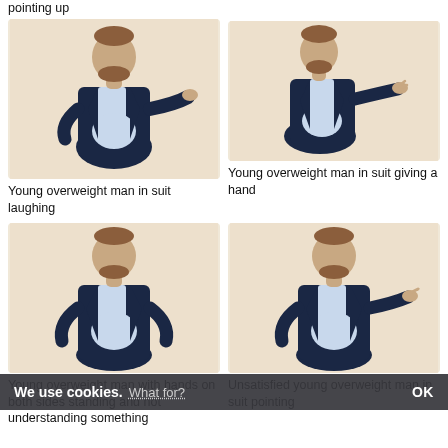pointing up
[Figure (photo): Young overweight man in dark suit laughing, posing on beige background]
Young overweight man in suit laughing
[Figure (photo): Young overweight man in dark suit giving a hand, posing on beige background]
Young overweight man in suit giving a hand
[Figure (photo): Young overweight man in dark suit with hands on both sides standing]
Young overweight man with hands on both sides standing and not understanding something
[Figure (photo): Unsatisfied young overweight man in suit pointing]
Unsatisfied young overweight man in suit pointing
We use cookies. What for? OK